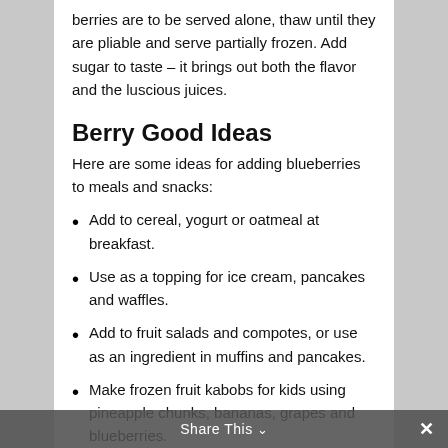berries are to be served alone, thaw until they are pliable and serve partially frozen. Add sugar to taste – it brings out both the flavor and the luscious juices.
Berry Good Ideas
Here are some ideas for adding blueberries to meals and snacks:
Add to cereal, yogurt or oatmeal at breakfast.
Use as a topping for ice cream, pancakes and waffles.
Add to fruit salads and compotes, or use as an ingredient in muffins and pancakes.
Make frozen fruit kabobs for kids using pineapple chunks, bananas, grapes and blueberries.
Share This ∨  ×